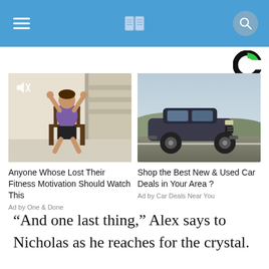Navigation bar with hamburger menu, book logo, and search icon
[Figure (logo): Taboola-style C logo in black and green, top right of ad section]
[Figure (photo): Woman doing fitness exercise on chair indoors with staircase in background, with mute icon overlay]
Anyone Whose Lost Their Fitness Motivation Should Watch This
Ad by One & Done
[Figure (photo): Dark SUV car driving on road with landscape background]
Shop the Best New & Used Car Deals in Your Area ?
Ad by Car Deals Near You
“And one last thing,” Alex says to Nicholas as he reaches for the crystal.